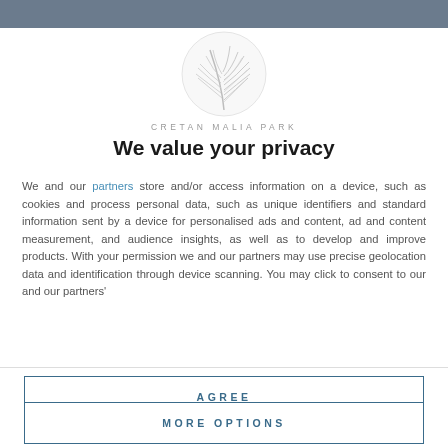[Figure (logo): Cretan Malia Park palm leaf logo — a circular grey palm frond illustration]
CRETAN MALIA PARK
We value your privacy
We and our partners store and/or access information on a device, such as cookies and process personal data, such as unique identifiers and standard information sent by a device for personalised ads and content, ad and content measurement, and audience insights, as well as to develop and improve products. With your permission we and our partners may use precise geolocation data and identification through device scanning. You may click to consent to our and our partners'
AGREE
MORE OPTIONS